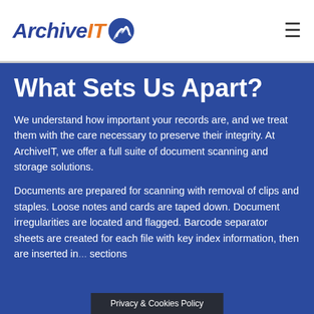[Figure (logo): ArchiveIT logo with stylized book/page icon in blue and orange]
What Sets Us Apart?
We understand how important your records are, and we treat them with the care necessary to preserve their integrity. At ArchiveIT, we offer a full suite of document scanning and storage solutions.
Documents are prepared for scanning with removal of clips and staples. Loose notes and cards are taped down. Document irregularities are located and flagged. Barcode separator sheets are created for each file with key index information, then are inserted in... sections
Privacy & Cookies Policy